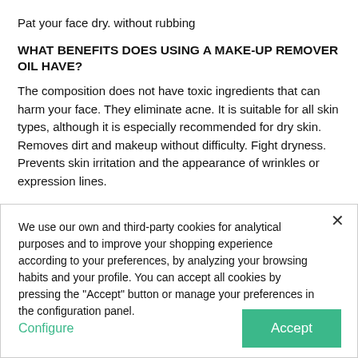Pat your face dry. without rubbing
WHAT BENEFITS DOES USING A MAKE-UP REMOVER OIL HAVE?
The composition does not have toxic ingredients that can harm your face. They eliminate acne. It is suitable for all skin types, although it is especially recommended for dry skin. Removes dirt and makeup without difficulty. Fight dryness. Prevents skin irritation and the appearance of wrinkles or expression lines.
We use our own and third-party cookies for analytical purposes and to improve your shopping experience according to your preferences, by analyzing your browsing habits and your profile. You can accept all cookies by pressing the "Accept" button or manage your preferences in the configuration panel.
Configure
Accept